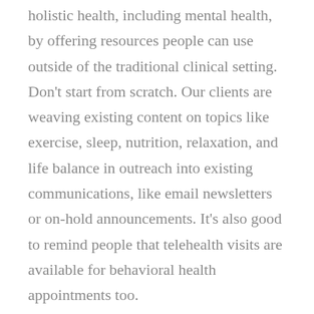holistic health, including mental health, by offering resources people can use outside of the traditional clinical setting. Don't start from scratch. Our clients are weaving existing content on topics like exercise, sleep, nutrition, relaxation, and life balance in outreach into existing communications, like email newsletters or on-hold announcements. It's also good to remind people that telehealth visits are available for behavioral health appointments too.
#3 Offer a Health Risk Assessment
Health risk assessments (HRAs) are